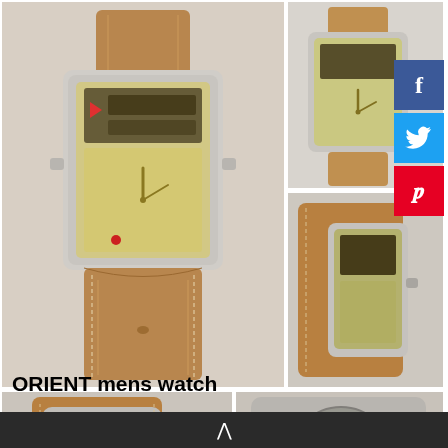[Figure (photo): Large main photo of ORIENT mens watch front view, silver rectangular case with gold/champagne dial showing analog hands and digital display elements, brown leather strap with white stitching]
[Figure (photo): Top-right photo of ORIENT watch front view at angle, silver rectangular case, brown leather strap]
[Figure (photo): Middle-right photo of ORIENT watch side/back view showing brown leather strap and silver case]
[Figure (photo): Bottom-left photo of ORIENT watch back view showing open caseback with green movement rotor, brown leather strap]
[Figure (photo): Bottom-right photo of ORIENT watch back view close-up showing green automatic movement rotor]
ORIENT mens watch